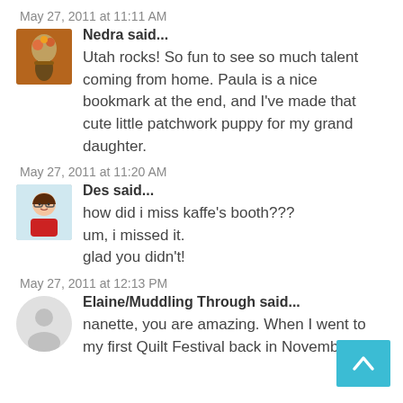May 27, 2011 at 11:11 AM
Nedra said...
[Figure (photo): Avatar thumbnail showing a decorative floral/cacti image]
Utah rocks! So fun to see so much talent coming from home. Paula is a nice bookmark at the end, and I've made that cute little patchwork puppy for my grand daughter.
May 27, 2011 at 11:20 AM
Des said...
[Figure (illustration): Avatar thumbnail showing a cartoon character with glasses and red shirt]
how did i miss kaffe's booth???
um, i missed it.
glad you didn't!
May 27, 2011 at 12:13 PM
Elaine/Muddling Through said...
[Figure (photo): Avatar thumbnail partially visible, appears light/white]
nanette, you are amazing. When I went to my first Quilt Festival back in November, I